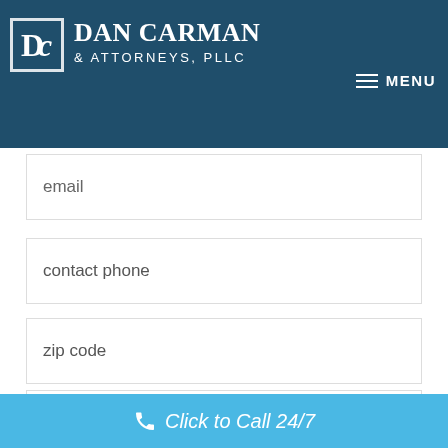Dan Carman & Attorneys, PLLC
email
contact phone
zip code
tell us how we can help
Click to Call 24/7